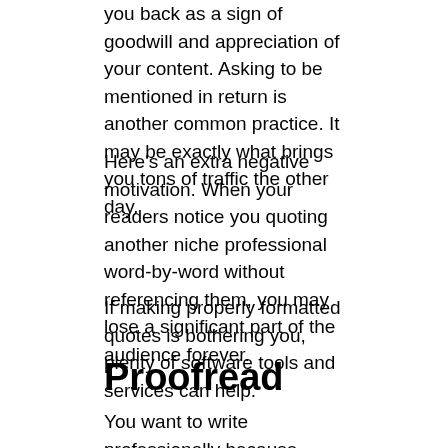you back as a sign of goodwill and appreciation of your content. Asking to be mentioned in return is another common practice. It may be exactly what brings you tons of traffic the other day.
Here's an extra negative motivation. When your readers notice you quoting another niche professional word-by-word without referencing them, you may lose a significant part of the audience forever.
If making properly formatted quotes is bothering you, plenty of software tools and services can help.
Proofread
You want to write professionally because professional writing evokes the right state in the reader, while amateur writing doesn't. And professional writing involves